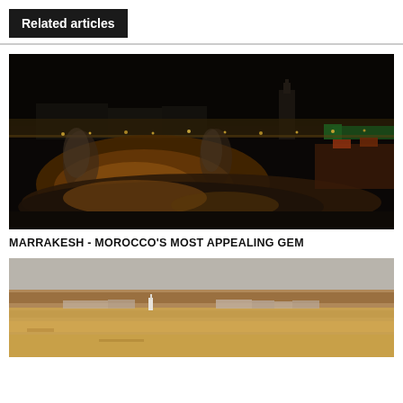Related articles
[Figure (photo): Aerial night view of Jemaa el-Fnaa square in Marrakesh, Morocco, crowded with people, food stalls, smoke, and glowing lights with a mosque minaret visible in the background.]
MARRAKESH - MOROCCO'S MOST APPEALING GEM
[Figure (photo): Daytime desert landscape with flat arid terrain and a small white building or minaret visible on the horizon.]